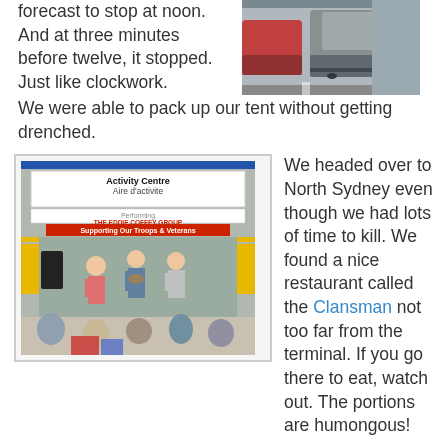forecast to stop at noon. And at three minutes before twelve, it stopped. Just like clockwork. We were able to pack up our tent without getting drenched.
[Figure (photo): Photo of cars parked in a parking lot or ferry lineup area, rear view of vehicles]
[Figure (photo): Photo of a musical group performing on a stage in front of an 'Activity Centre / Aire d'activite' sign, with an audience watching. A banner reads 'THE EDDIE COFFEY GROUP - Supporting Our Troops & Veterans'.]
We headed over to North Sydney even though we had lots of time to kill. We found a nice restaurant called the Clansman not too far from the terminal. If you go there to eat, watch out. The portions are humongous! Then we drove to the ferry lineup to wait another three hours for loading. While we waited there was a musical group playing Nova Scotia and Newfoundland tunes for the captive audience. As I recall, the orchestra played during the sinking